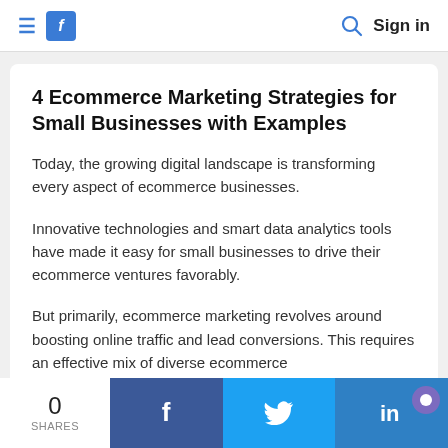≡ F  🔍 Sign in
4 Ecommerce Marketing Strategies for Small Businesses with Examples
Today, the growing digital landscape is transforming every aspect of ecommerce businesses.
Innovative technologies and smart data analytics tools have made it easy for small businesses to drive their ecommerce ventures favorably.
But primarily, ecommerce marketing revolves around boosting online traffic and lead conversions. This requires an effective mix of diverse ecommerce
0 SHARES  Facebook  Twitter  LinkedIn